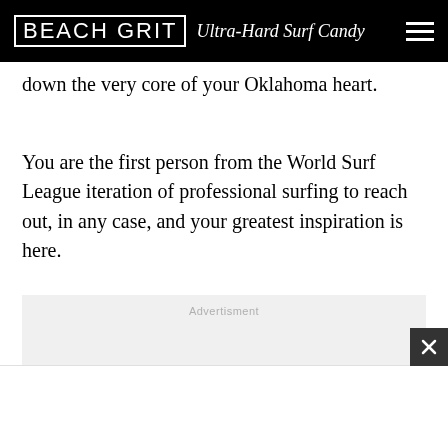BEACH GRIT Ultra-Hard Surf Candy
down the very core of your Oklahoma heart.
You are the first person from the World Surf League iteration of professional surfing to reach out, in any case, and your greatest inspiration is here.
[Figure (other): Advertisement placeholder block with light grey background and 'Advertisment' label text]
[Figure (other): Scroll-to-top button, circular grey button with upward chevron arrow]
[Figure (other): Close button, dark square with X symbol, bottom right corner]